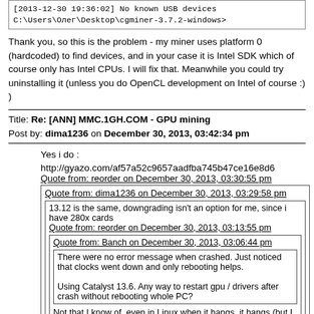[Figure (screenshot): Terminal/command prompt box showing: [2013-12-30 19:36:02] No known USB devices and C:\Users\Олег\Desktop\cgminer-3.7.2-windows>]
Thank you, so this is the problem - my miner uses platform 0 (hardcoded) to find devices, and in your case it is Intel SDK which of course only has Intel CPUs. I will fix that. Meanwhile you could try uninstalling it (unless you do OpenCL development on Intel of course :) )
Title: Re: [ANN] MMC.1GH.COM - GPU mining
Post by: dima1236 on December 30, 2013, 03:42:34 pm
Yes i do :
http://gyazo.com/af57a52c9657aadfba745b47ce16e8d6
Quote from: reorder on December 30, 2013, 03:30:55 pm
Quote from: dima1236 on December 30, 2013, 03:29:58 pm
13.12 is the same, downgrading isn't an option for me, since i have 280x cards
Quote from: reorder on December 30, 2013, 03:13:55 pm
Quote from: Banch on December 30, 2013, 03:06:44 pm
There were no error message when crashed. Just noticed that clocks went down and only rebooting helps.

Using Catalyst 13.6. Any way to restart gpu / drivers after crash without rebooting whole PC?
Not that I know of, even in Linux when it hangs, it hangs (but I believe I have all code problems causing hangups fixed to this moment). Could you please try upgrading Catalyst? 13.x series upto 13.12 have various problems.
One more question, do you have GPU_USE_SYNC_OBJECTS set?